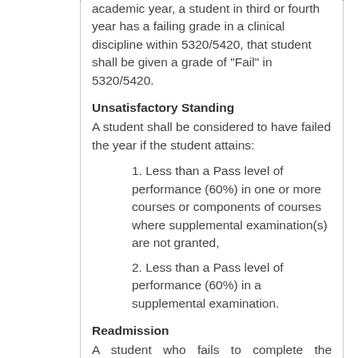academic year, a student in third or fourth year has a failing grade in a clinical discipline within 5320/5420, that student shall be given a grade of "Fail" in 5320/5420.
Unsatisfactory Standing
A student shall be considered to have failed the year if the student attains:
1. Less than a Pass level of performance (60%) in one or more courses or components of courses where supplemental examination(s) are not granted,
2. Less than a Pass level of performance (60%) in a supplemental examination.
Readmission
A student who fails to complete the program in five years will be required to withdraw from the dental program and will not normally be